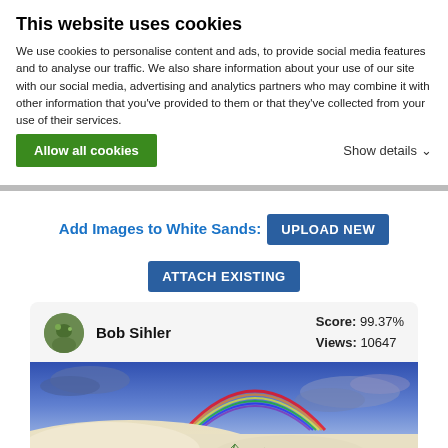This website uses cookies
We use cookies to personalise content and ads, to provide social media features and to analyse our traffic. We also share information about your use of our site with our social media, advertising and analytics partners who may combine it with other information that you've provided to them or that they've collected from your use of their services.
Allow all cookies
Show details
Add Images to White Sands: UPLOAD NEW
ATTACH EXISTING
Bob Sihler  Score: 99.37%  Views: 10647
[Figure (photo): Landscape photo of White Sands with white sand dunes in foreground and a rainbow over a blue cloudy sky in the background.]